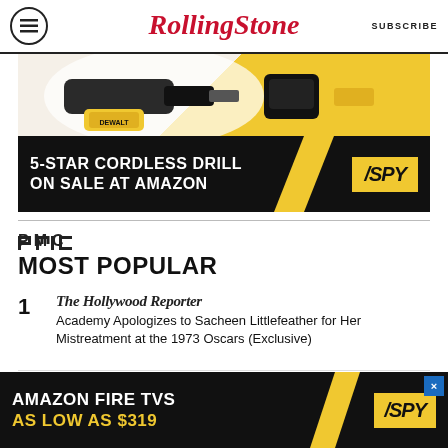Rolling Stone | SUBSCRIBE
[Figure (photo): Advertisement banner: 5-Star Cordless Drill on sale at Amazon, SPY brand. Shows power drill tools on yellow and black background.]
PMC
MOST POPULAR
1 The Hollywood Reporter — Academy Apologizes to Sacheen Littlefeather for Her Mistreatment at the 1973 Oscars (Exclusive)
2 Variety
[Figure (photo): Advertisement banner: Amazon Fire TVs As Low As $319, SPY brand. Black and yellow background.]